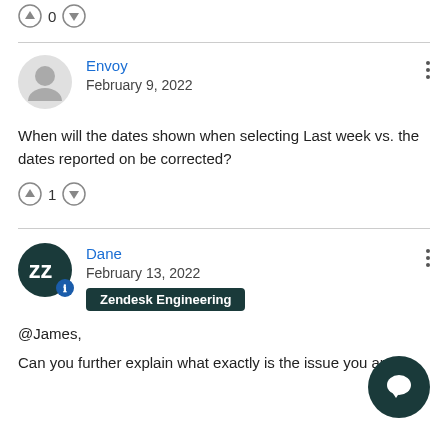[Figure (other): Vote up/down buttons with count 0]
[Figure (other): User comment from Envoy, February 9, 2022 with text about dates shown when selecting Last week vs. dates reported on]
When will the dates shown when selecting Last week vs. the dates reported on be corrected?
[Figure (other): Vote up/down buttons with count 1]
[Figure (other): User comment from Dane, February 13, 2022, Zendesk Engineering badge, text: @James, Can you further explain what exactly is the issue you are]
@James,
Can you further explain what exactly is the issue you are